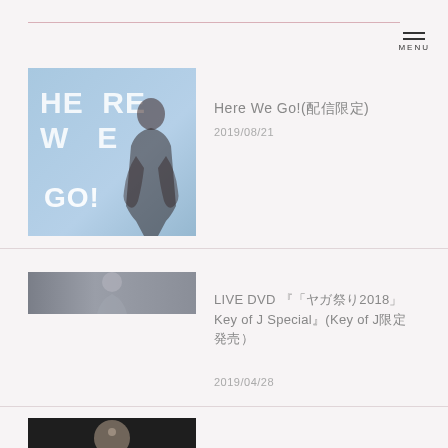[Figure (photo): Album cover for 'Here We Go!' with light blue background, white bold text 'HERE WE GO!' and a female artist silhouette]
Here We Go!(配信限定)
2019/08/21
[Figure (photo): Partial image showing a person, partially cropped, gray tones]
LIVE DVD 『「ヤガ祭り2018」Key of J Special』(Key of J限定発売)
2019/04/28
[Figure (photo): Concert photo, dark background, performer partially visible at bottom of page]